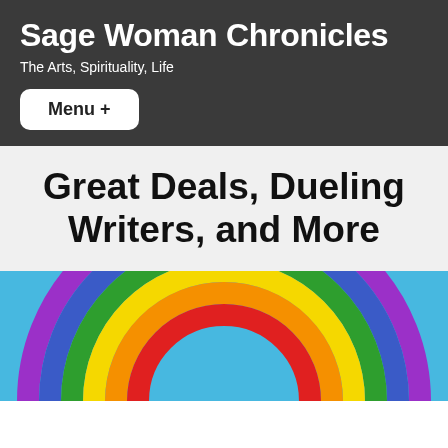Sage Woman Chronicles
The Arts, Spirituality, Life
Menu +
Great Deals, Dueling Writers, and More
[Figure (illustration): A rainbow arc with concentric colored bands (purple, blue, green, yellow, orange, red) on a light blue sky background, cropped to show the upper arc.]